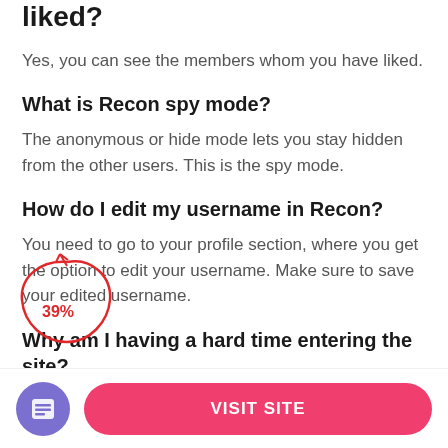liked?
Yes, you can see the members whom you have liked.
What is Recon spy mode?
The anonymous or hide mode lets you stay hidden from the other users. This is the spy mode.
How do I edit my username in Recon?
You need to go to your profile section, where you get the option to edit your username. Make sure to save your edited username.
Why am I having a hard time entering the site?